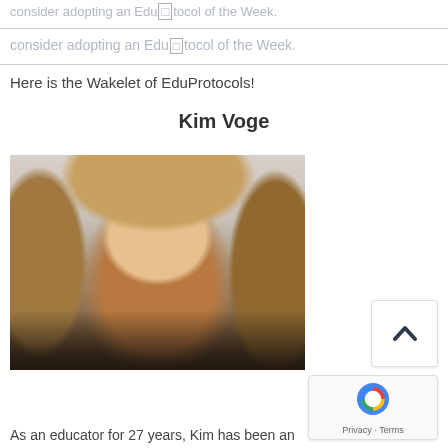consider adopting an EduProtocol of the Week.
Here is the Wakelet of EduProtocols!
Kim Voge
[Figure (photo): Portrait photo of Kim Voge, a woman with shoulder-length highlighted brown hair, blue eyes, wearing a black top and a heart necklace, smiling against a light textured background.]
As an educator for 27 years, Kim has been an